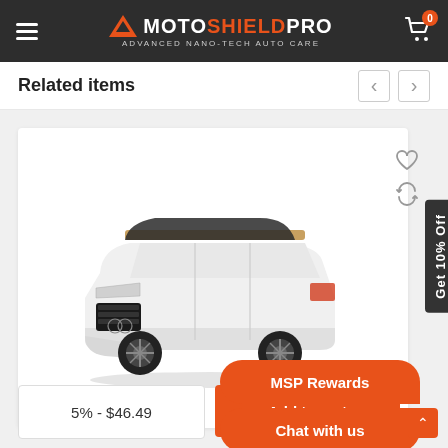MotoShield Pro - Advanced Nano-Tech Auto Care
Related items
[Figure (photo): White Audi luxury sedan with window tinting applied, shown at a 3/4 front angle on a white background]
5% - $46.49
Add to cart
MSP Rewards
Chat with us
Get 10% Off